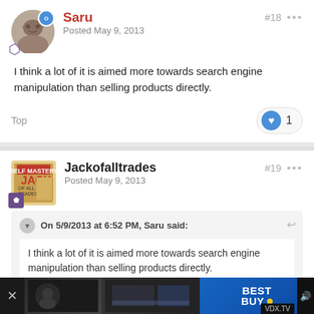Saru
Posted May 9, 2013
#18
I think a lot of it is aimed more towards search engine manipulation than selling products directly.
Top
Jackofalltrades
Posted May 9, 2013
#19
On 5/9/2013 at 6:52 PM, Saru said:
I think a lot of it is aimed more towards search engine manipulation than selling products directly.
[Figure (screenshot): Advertisement banner at bottom showing Best Buy ad on dark background with VDX.TV watermark]